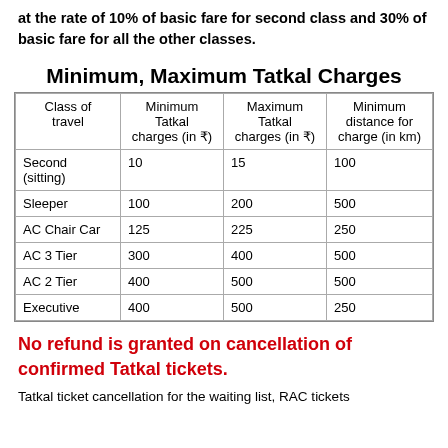at the rate of 10% of basic fare for second class and 30% of basic fare for all the other classes.
Minimum, Maximum Tatkal Charges
| Class of travel | Minimum Tatkal charges (in ₹) | Maximum Tatkal charges (in ₹) | Minimum distance for charge (in km) |
| --- | --- | --- | --- |
| Second (sitting) | 10 | 15 | 100 |
| Sleeper | 100 | 200 | 500 |
| AC Chair Car | 125 | 225 | 250 |
| AC 3 Tier | 300 | 400 | 500 |
| AC 2 Tier | 400 | 500 | 500 |
| Executive | 400 | 500 | 250 |
No refund is granted on cancellation of confirmed Tatkal tickets.
Tatkal ticket cancellation for the waiting list, RAC tickets